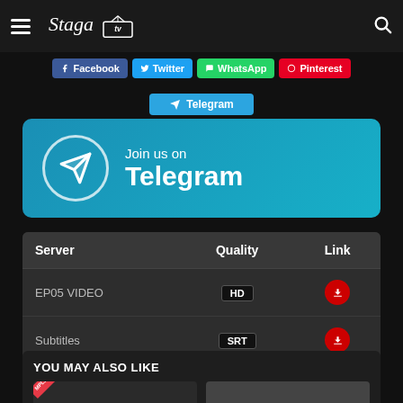Staga TV
[Figure (screenshot): Social share buttons: Facebook, Twitter, WhatsApp, Pinterest, Telegram]
[Figure (infographic): Join us on Telegram banner with Telegram logo]
| Server | Quality | Link |
| --- | --- | --- |
| EP05 VIDEO | HD | download |
| Subtitles | SRT | download |
YOU MAY ALSO LIKE
[Figure (photo): Thumbnail cards for related content]